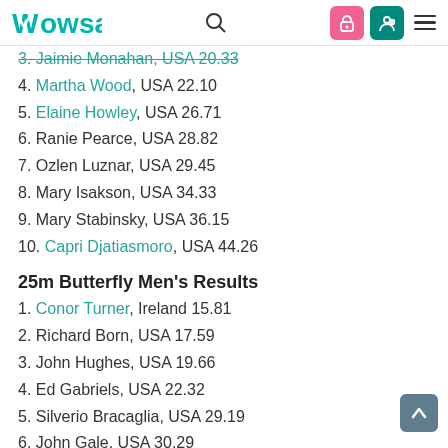WOWSA
3. Jaimie Monahan, USA 20.33
4. Martha Wood, USA 22.10
5. Elaine Howley, USA 26.71
6. Ranie Pearce, USA 28.82
7. Ozlen Luznar, USA 29.45
8. Mary Isakson, USA 34.33
9. Mary Stabinsky, USA 36.15
10. Capri Djatiasmoro, USA 44.26
25m Butterfly Men's Results
1. Conor Turner, Ireland 15.81
2. Richard Born, USA 17.59
3. John Hughes, USA 19.66
4. Ed Gabriels, USA 22.32
5. Silverio Bracaglia, USA 29.19
6. John Gale, USA 30.29